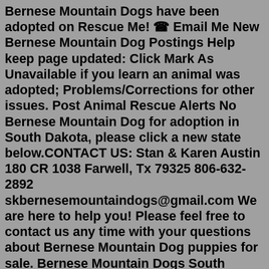Bernese Mountain Dogs have been adopted on Rescue Me! ☎ Email Me New Bernese Mountain Dog Postings Help keep page updated: Click Mark As Unavailable if you learn an animal was adopted; Problems/Corrections for other issues. Post Animal Rescue Alerts No Bernese Mountain Dog for adoption in South Dakota, please click a new state below.CONTACT US: Stan & Karen Austin 180 CR 1038 Farwell, Tx 79325 806-632-2892 skbernesemountaindogs@gmail.com We are here to help you! Please feel free to contact us any time with your questions about Bernese Mountain Dog puppies for sale. Bernese Mountain Dogs South Dakota Bernese Mountain Puppies Dogs for Sale Breeder Breeders Pleas coat. They run and romp outside daily. In the summer they play in the swimming pools, role in the grass, play tag, and grab at each others tails and coats.Find a Bernese Mountain Dog puppy from reputable breeders near you in South Dakota. Screened for quality. Transportation to South Dakota available. Visit us now to find your dog. About Us